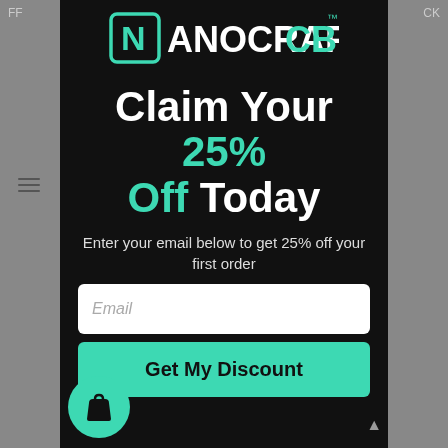[Figure (logo): NanoCraftCBD logo in teal/white on dark background]
Claim Your 25% Off Today
Enter your email below to get 25% off your first order
[Figure (screenshot): Email input field with placeholder text 'Email']
Get My Discount